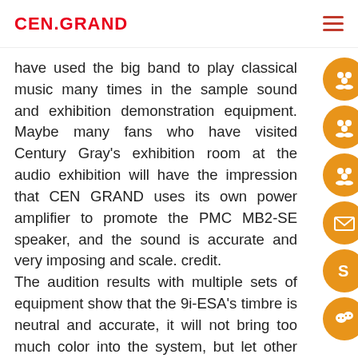CEN.GRAND
have used the big band to play classical music many times in the sample sound and exhibition demonstration equipment. Maybe many fans who have visited Century Gray's exhibition room at the audio exhibition will have the impression that CEN GRAND uses its own power amplifier to promote the PMC MB2-SE speaker, and the sound is accurate and very imposing and scale. credit.
The audition results with multiple sets of equipment show that the 9i-ESA's timbre is neutral and accurate, it will not bring too much color into the system, but let other equipment play its own characteristics.
2. As Pure Blu-Ray Audio:
When listening to Blu-Ray music with a two-channel system, whether it is a speaker system